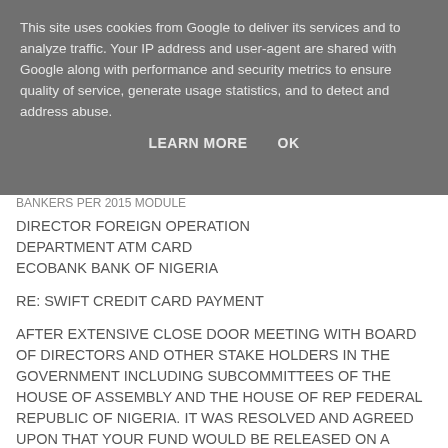This site uses cookies from Google to deliver its services and to analyze traffic. Your IP address and user-agent are shared with Google along with performance and security metrics to ensure quality of service, generate usage statistics, and to detect and address abuse.
LEARN MORE    OK
BANKERS PER 2015 MODULE
DIRECTOR FOREIGN OPERATION DEPARTMENT ATM CARD ECOBANK BANK OF NIGERIA
RE: SWIFT CREDIT CARD PAYMENT
AFTER EXTENSIVE CLOSE DOOR MEETING WITH BOARD OF DIRECTORS AND OTHER STAKE HOLDERS IN THE GOVERNMENT INCLUDING SUBCOMMITTEES OF THE HOUSE OF ASSEMBLY AND THE HOUSE OF REP FEDERAL REPUBLIC OF NIGERIA. IT WAS RESOLVED AND AGREED UPON THAT YOUR FUND WOULD BE RELEASED ON A SPECIAL METHOD OF PAYMENT. BY TAG NAME READS SWIFT CREDIT CARD